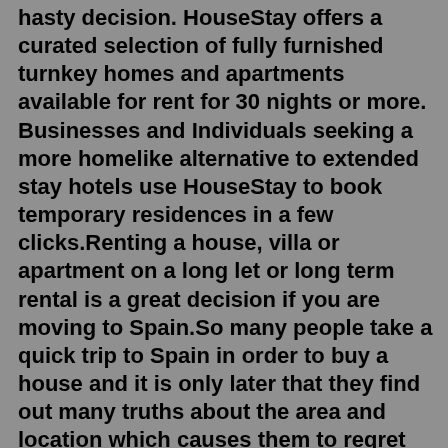hasty decision. HouseStay offers a curated selection of fully furnished turnkey homes and apartments available for rent for 30 nights or more. Businesses and Individuals seeking a more homelike alternative to extended stay hotels use HouseStay to book temporary residences in a few clicks.Renting a house, villa or apartment on a long let or long term rental is a great decision if you are moving to Spain.So many people take a quick trip to Spain in order to buy a house and it is only later that they find out many truths about the area and location which causes them to regret making such a hasty decision. Find Furnished Spanish Monthly rentals or extended stay Unfurnished Spanish long annual lets with no fees, list your property free. Long Term Lettings - Housing Spain Long term rentals Spanish Monthly rentals of Apartments and Houses extended stays, sublets, winter lets and annual furnished or unfurnished lettings. As of today, Zumper has 2,384 furnished apartments for rent. Furnished apartments tend to be